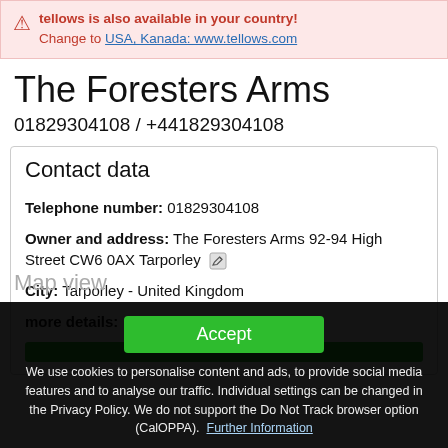⚠ tellows is also available in your country! Change to USA, Kanada: www.tellows.com
The Foresters Arms
01829304108 / +441829304108
Contact data
Telephone number: 01829304108
Owner and address: The Foresters Arms 92-94 High Street CW6 0AX Tarporley
City: Tarporley - United Kingdom
more details:
Accept
We use cookies to personalise content and ads, to provide social media features and to analyse our traffic. Individual settings can be changed in the Privacy Policy. We do not support the Do Not Track browser option (CalOPPA). Further Information
Map view